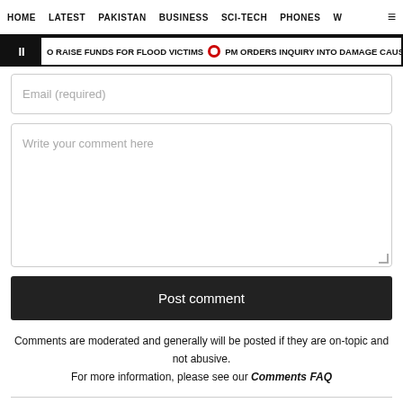HOME  LATEST  PAKISTAN  BUSINESS  SCI-TECH  PHONES  W  ☰
❚ O RAISE FUNDS FOR FLOOD VICTIMS • PM ORDERS INQUIRY INTO DAMAGE CAUSE
Email (required)
Write your comment here
Post comment
Comments are moderated and generally will be posted if they are on-topic and not abusive.
For more information, please see our Comments FAQ